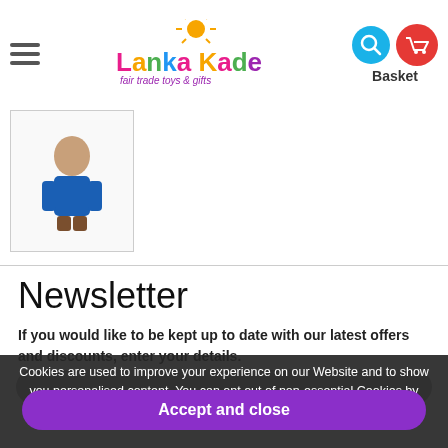Lanka Kade – fair trade toys & gifts
[Figure (photo): Partial product thumbnail image showing a small toy figure with blue and brown coloring]
Newsletter
If you would like to be kept up to date with our latest offers and discounts, enter your details.
Cookies are used to improve your experience on our Website and to show you personalised content. You can opt out of non-essential Cookies by clicking here.
Accept and close